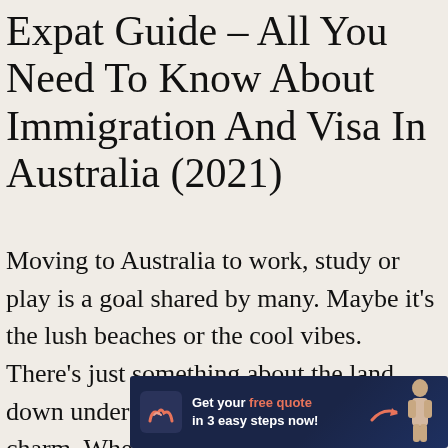Expat Guide – All You Need To Know About Immigration And Visa In Australia (2021)
Moving to Australia to work, study or play is a goal shared by many. Maybe it's the lush beaches or the cool vibes. There's just something about the land down under that has held a magical charm. Whether you're headed to the bustling city of Melbourne, or looking forward to enjoying the sunshine about immigra guide
[Figure (other): Advertisement banner with dark navy background. Shows a logo with stylized 'm' letter mark in coral/pink color, text reading 'Get your free quote in 3 easy steps now!' with 'free quote' in coral/pink, and a woman figure on the right side.]